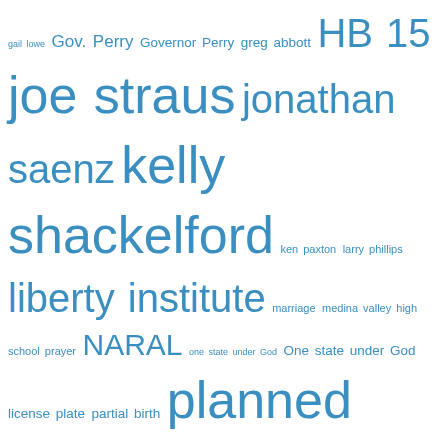[Figure (infographic): A tag cloud with terms related to Texas politics, religion, education, and legislation, displayed in varying font sizes in blue color on white background. Larger terms indicate higher frequency/importance.]